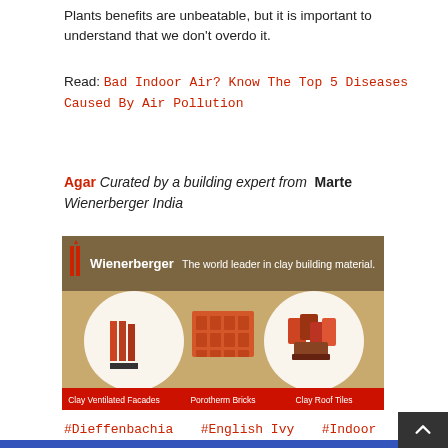Plants benefits are unbeatable, but it is important to understand that we don't overdo it.
Read: Bad Indoor Air? Know The Top 5 Diseases Caused By Air Pollution
Agar Curated by a building expert from  Marte Wienerberger India
[Figure (photo): Wienerberger advertisement banner showing clay building products: Clay Ventilated Facades, Porotherm Bricks, and Clay Roof Tiles. Tagline: The world leader in clay building material.]
#Dieffenbachia  #English Ivy  #Indoor Plants  #Peace Lily  #snake plant  #Toxic indoor plants  #weeping fig